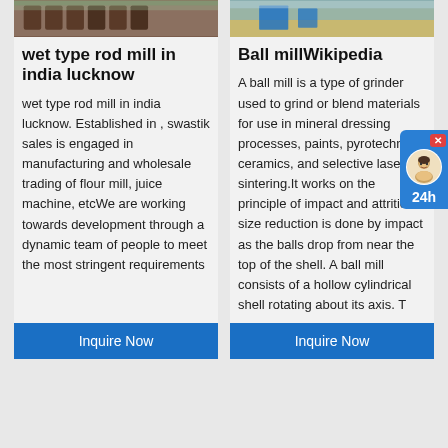[Figure (photo): Photo of wooden chairs/furniture in a room - left card image]
wet type rod mill in india lucknow
wet type rod mill in india lucknow. Established in , swastik sales is engaged in manufacturing and wholesale trading of flour mill, juice machine, etcWe are working towards development through a dynamic team of people to meet the most stringent requirements
Inquire Now
[Figure (photo): Photo showing industrial/warehouse setting with blue equipment - right card image]
Ball millWikipedia
A ball mill is a type of grinder used to grind or blend materials for use in mineral dressing processes, paints, pyrotechnics, ceramics, and selective laser sintering.It works on the principle of impact and attrition: size reduction is done by impact as the balls drop from near the top of the shell. A ball mill consists of a hollow cylindrical shell rotating about its axis. T
Inquire Now